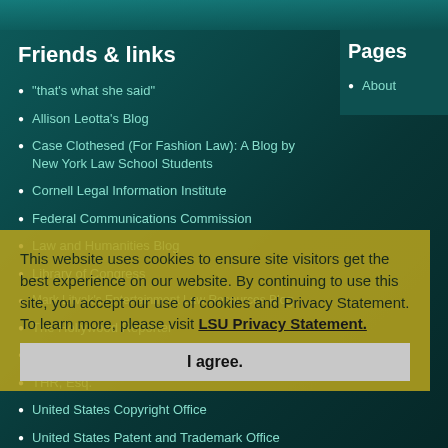Friends & links
"that's what she said"
Allison Leotta's Blog
Case Clothesed (For Fashion Law): A Blog by New York Law School Students
Cornell Legal Information Institute
Federal Communications Commission
Law and Humanities Blog
Library of Congress
Mark Litvak's Entertainment Law Resources Blog
The Hollywood Reporter
The Prime Time Crime Review
THR, Esq.
United States Copyright Office
United States Patent and Trademark Office
Pages
About
This website uses cookies to ensure site visitors get the best experience on our website. By continuing to use this site, you accept our use of cookies and Privacy Statement. To learn more, please visit LSU Privacy Statement.
I agree.